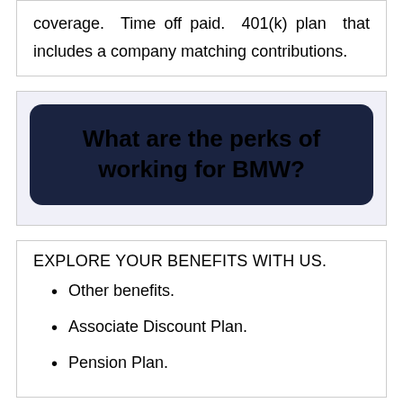coverage. Time off paid. 401(k) plan that includes a company matching contributions.
What are the perks of working for BMW?
EXPLORE YOUR BENEFITS WITH US.
Other benefits.
Associate Discount Plan.
Pension Plan.